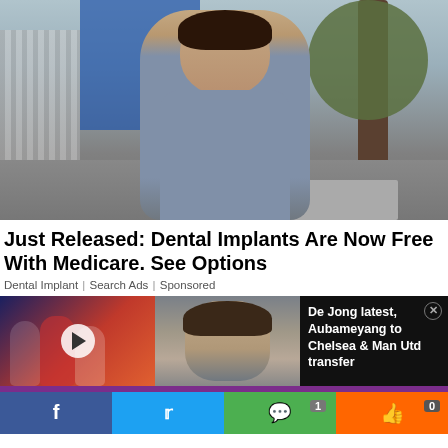[Figure (photo): Woman in grey fitted dress standing on sidewalk outdoors near trees and street]
Just Released: Dental Implants Are Now Free With Medicare. See Options
Dental Implant | Search Ads | Sponsored
[Figure (photo): Sports/soccer players action photo with play button overlay and man portrait photo]
De Jong latest, Aubameyang to Chelsea & Man Utd transfer
[Figure (infographic): Social sharing bar with Facebook, Twitter, comment (1), and like (0) buttons]